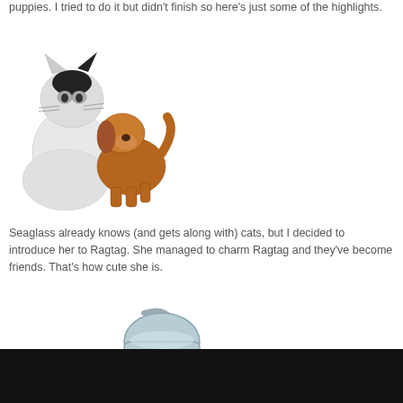puppies. I tried to do it but didn't finish so here's just some of the highlights.
[Figure (illustration): Illustration of a fluffy white and black cat next to a golden-brown puppy dog]
Seaglass already knows (and gets along with) cats, but I decided to introduce her to Ragtag. She managed to charm Ragtag and they've become friends. That's how cute she is.
[Figure (illustration): Illustration of a metal watering can tipping and watering a small golden-brown puppy or animal below it]